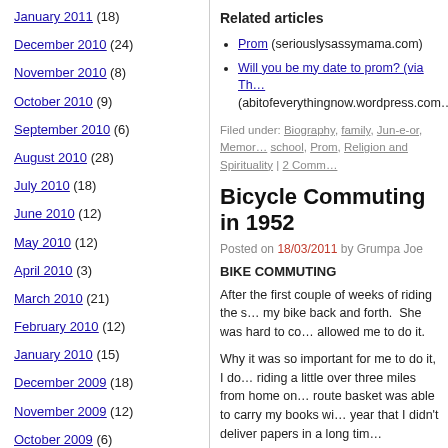January 2011 (18)
December 2010 (24)
November 2010 (8)
October 2010 (9)
September 2010 (6)
August 2010 (28)
July 2010 (18)
June 2010 (12)
May 2010 (12)
April 2010 (3)
March 2010 (21)
February 2010 (12)
January 2010 (15)
December 2009 (18)
November 2009 (12)
October 2009 (6)
September 2009 (11)
Related articles
Prom (seriouslysassymama.com)
Will you be my date to prom? (via Th… (abitofeverythingnow.wordpress.com…
Filed under: Biography, family, Jun-e-or, Memor… school, Prom, Religion and Spirituality | 2 Comm…
Bicycle Commuting in 1952
Posted on 18/03/2011 by Grumpa Joe
BIKE COMMUTING
After the first couple of weeks of riding the s… my bike back and forth.  She was hard to co… allowed me to do it.
Why it was so important for me to do it, I do… riding a little over three miles from home on… route basket was able to carry my books wi… year that I didn't deliver papers in a long tim…
I plotted a route to take Woodlawn Avenue s… Street.  A right turn swung me toward Cotta… S… b… M… dli… it t…